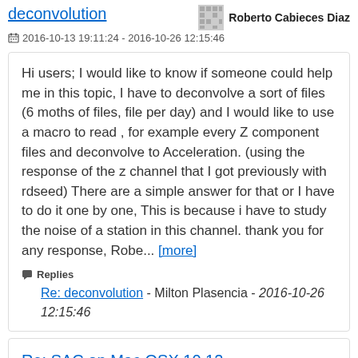deconvolution
2016-10-13 19:11:24 - 2016-10-26 12:15:46
Hi users; I would like to know if someone could help me in this topic, I have to deconvolve a sort of files (6 moths of files, file per day) and I would like to use a macro to read , for example every Z component files and deconvolve to Acceleration. (using the response of the z channel that I got previously with rdseed) There are a simple answer for that or I have to do it one by one, This is because i have to study the noise of a station in this channel. thank you for any response, Robe... [more]
Replies
Re: deconvolution - Milton Plasencia - 2016-10-26 12:15:46
Re: SAC on Mac OSX 10.12 Sierra
Larry Baker